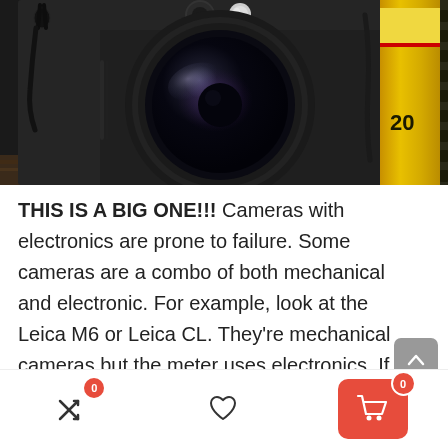[Figure (photo): Close-up photo of a black film camera (Leica-style) with a large round lens showing purple reflections, a white shutter button on top, camera strap visible on left, and a yellow film canister (marked '120') visible on the right side. Camera sits on a textured surface.]
THIS IS A BIG ONE!!! Cameras with electronics are prone to failure. Some cameras are a combo of both mechanical and electronic. For example, look at the Leica M6 or Leica CL. They're mechanical cameras but the meter uses electronics. If anything, your Leica M6 will just become a Leica M4! Mechanical cameras will also mean that they'll keep working pretty much no matter what. If your camera needs a
[Figure (screenshot): Bottom navigation bar with three icons: a shuffle/arrows icon with red badge showing 0, a heart/favorite icon, and a red shopping cart button with badge showing 0.]